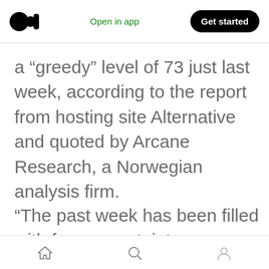Medium logo | Open in app | Get started
a “greedy” level of 73 just last week, according to the report from hosting site Alternative and quoted by Arcane Research, a Norwegian analysis firm.
“The past week has been filled with fear, uncertainty
Home | Search | Profile